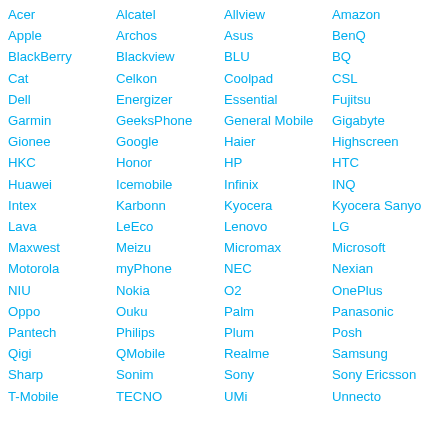Acer, Alcatel, Allview, Amazon
Apple, Archos, Asus, BenQ
BlackBerry, Blackview, BLU, BQ
Cat, Celkon, Coolpad, CSL
Dell, Energizer, Essential, Fujitsu
Garmin, GeeksPhone, General Mobile, Gigabyte
Gionee, Google, Haier, Highscreen
HKC, Honor, HP, HTC
Huawei, Icemobile, Infinix, INQ
Intex, Karbonn, Kyocera, Kyocera Sanyo
Lava, LeEco, Lenovo, LG
Maxwest, Meizu, Micromax, Microsoft
Motorola, myPhone, NEC, Nexian
NIU, Nokia, O2, OnePlus
Oppo, Ouku, Palm, Panasonic
Pantech, Philips, Plum, Posh
Qigi, QMobile, Realme, Samsung
Sharp, Sonim, Sony, Sony Ericsson
T-Mobile, TECNO, UMi, Unnecto